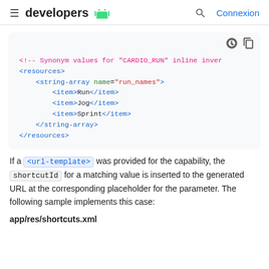≡ developers [android logo] 🔍 Connexion
[Figure (screenshot): XML code block showing synonym values for CARDIO_RUN with a string-array resource named run_names containing items Run, Jog, Sprint]
If a <url-template> was provided for the capability, the shortcutId for a matching value is inserted to the generated URL at the corresponding placeholder for the parameter. The following sample implements this case:
app/res/shortcuts.xml